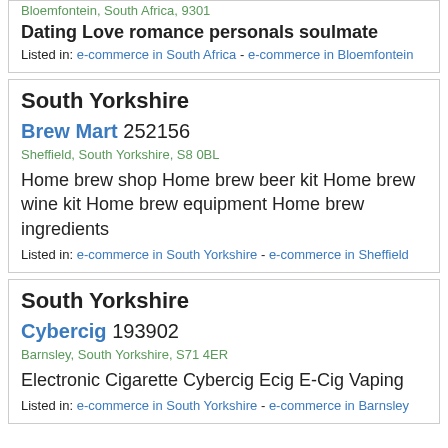Bloemfontein, South Africa, 9301
Dating Love romance personals soulmate
Listed in: e-commerce in South Africa - e-commerce in Bloemfontein
South Yorkshire
Brew Mart 252156
Sheffield, South Yorkshire, S8 0BL
Home brew shop Home brew beer kit Home brew wine kit Home brew equipment Home brew ingredients
Listed in: e-commerce in South Yorkshire - e-commerce in Sheffield
South Yorkshire
Cybercig 193902
Barnsley, South Yorkshire, S71 4ER
Electronic Cigarette Cybercig Ecig E-Cig Vaping
Listed in: e-commerce in South Yorkshire - e-commerce in Barnsley